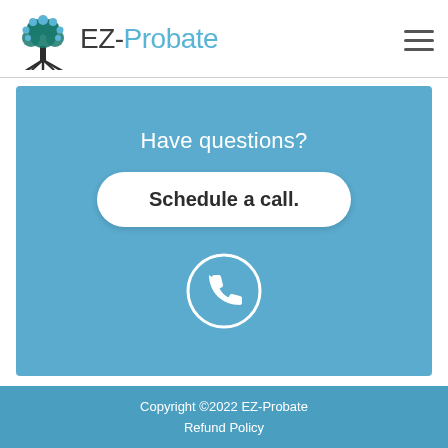[Figure (logo): EZ-Probate logo with tree icon and text]
Have questions?
Schedule a call.
[Figure (illustration): White phone icon inside a white circle on blue background]
Copyright ©2022 EZ-Probate
Refund Policy